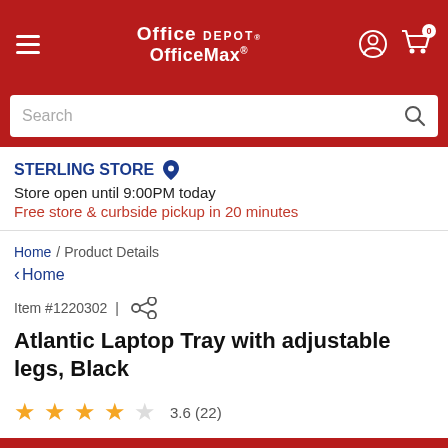[Figure (logo): Office Depot OfficeMax logo in white on red header bar with hamburger menu, user icon, and cart icon with 0 items]
Search
STERLING STORE
Store open until 9:00PM today
Free store & curbside pickup in 20 minutes
Home / Product Details
< Home
Item #1220302 |
Atlantic Laptop Tray with adjustable legs, Black
3.6 (22)